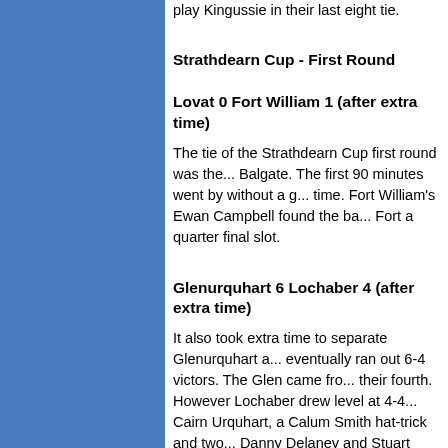play Kingussie in their last eight tie.
Strathdearn Cup - First Round
Lovat 0 Fort William 1 (after extra time)
The tie of the Strathdearn Cup first round was the... Balgate. The first 90 minutes went by without a g... time. Fort William's Ewan Campbell found the ba... Fort a quarter final slot.
Glenurquhart 6 Lochaber 4 (after extra time)
It also took extra time to separate Glenurquhart a... eventually ran out 6-4 victors. The Glen came fro... their fourth. However Lochaber drew level at 4-4... Cairn Urquhart, a Calum Smith hat-trick and two... Danny Delaney and Stuart Matheson scored two...
Skye Camanachd 4 Inverness 0
The Skye Camanachd second team beat the Inver... Inverness put up a great fight and with only 15 m...